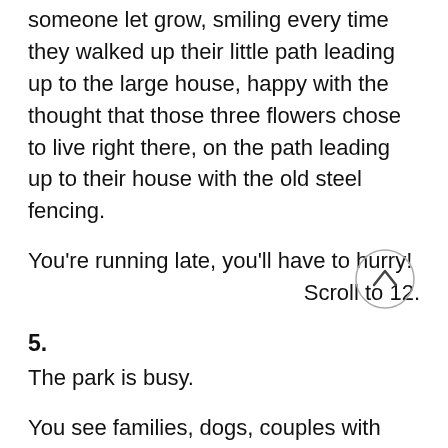someone let grow, smiling every time they walked up their little path leading up to the large house, happy with the thought that those three flowers chose to live right there, on the path leading up to their house with the old steel fencing.
You're running late, you'll have to hurry!
Scroll to 12.
5.
The park is busy.
You see families, dogs, couples with linked arms.
[Figure (other): A circle with an upward-pointing chevron/caret arrow inside, used as a navigation button.]
The park is mowed, but you notice a couple of dandelions which have managed to spread their roots alongside the corners of the crew-cut grass.